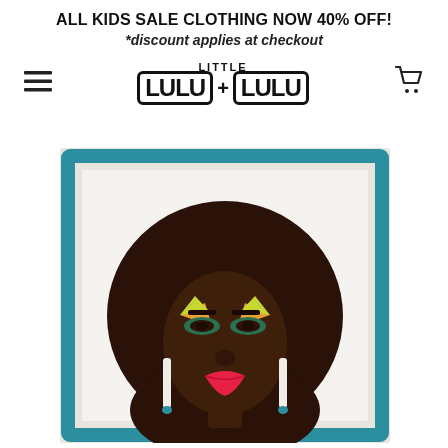ALL KIDS SALE CLOTHING NOW 40% OFF!
*discount applies at checkout
[Figure (logo): Little Lulu + Lulu logo with hamburger menu icon on left and shopping cart icon on right]
[Figure (photo): A framed textile or tapestry artwork featuring a stylized illustration of a woman with a large dark afro, colorful geometric eye makeup in teal and orange tones, and bright red lips, against a white background with a teal border frame]